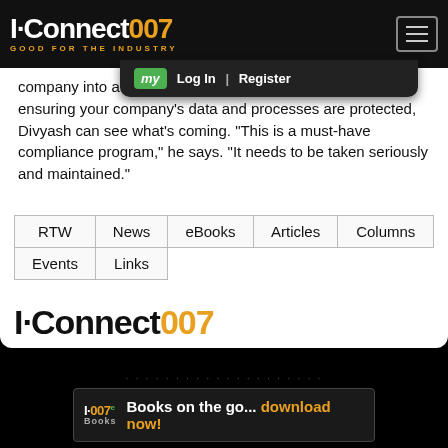I-Connect007 — GOOD FOR THE INDUSTRY
company into a state of a theater. Whether it's aligning ensuring your company's data and processes are protected, Divyash can see what’s coming. “This is a must-have compliance program,” he says. “It needs to be taken seriously and maintained.”
| RTW | News | eBooks | Articles | Columns | Events | Links |
| --- | --- | --- | --- | --- | --- | --- |
[Figure (logo): I-Connect007 logo in black and gold]
[Figure (logo): I-007e Books ad banner: Books on the go... download now!]